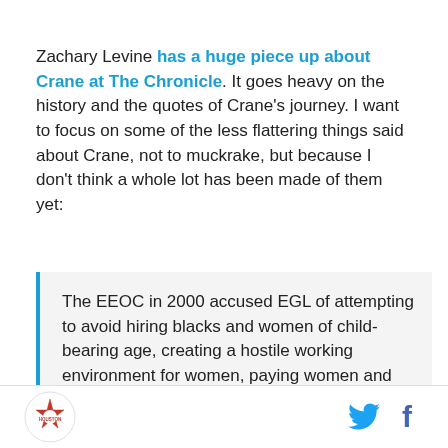Zachary Levine has a huge piece up about Crane at The Chronicle. It goes heavy on the history and the quotes of Crane's journey. I want to focus on some of the less flattering things said about Crane, not to muckrake, but because I don't think a whole lot has been made of them yet:
The EEOC in 2000 accused EGL of attempting to avoid hiring blacks and women of child-bearing age, creating a hostile working environment for women, paying women and minority employees less than
Houston logo | Twitter | Facebook